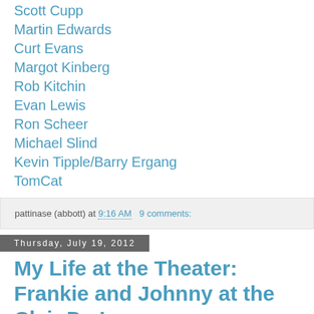Scott Cupp
Martin Edwards
Curt Evans
Margot Kinberg
Rob Kitchin
Evan Lewis
Ron Scheer
Michael Slind
Kevin Tipple/Barry Ergang
TomCat
pattinase (abbott) at 9:16 AM   9 comments:
Thursday, July 19, 2012
My Life at the Theater: Frankie and Johnny at the Clair De Lune
[Figure (photo): Movie poster or image for Frankie and Johnny at the Clair De Lune showing a moon with the word Frankie on it against a dark background]
You may have seen the movie version of this with Al and